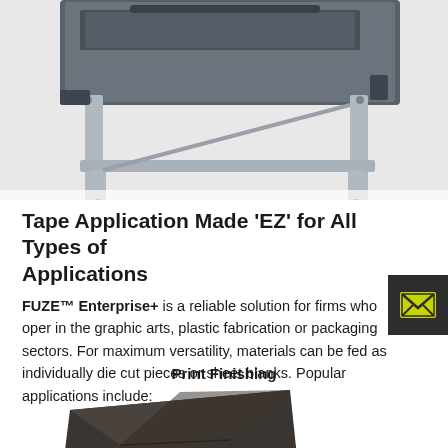[Figure (photo): Industrial tape application machine on a metal frame/cart, viewed from above and side angle, showing a large flat dark surface with mechanical components]
Tape Application Made ‘EZ’ for All Types of Applications
FUZE™ Enterprise+ is a reliable solution for firms who operate in the graphic arts, plastic fabrication or packaging sectors. For maximum versatility, materials can be fed as individually die cut pieces or sheet blanks. Popular applications include:
Print Finishing
[Figure (photo): Dark brown/black folded envelope or box, shown from above at an angle on white background]